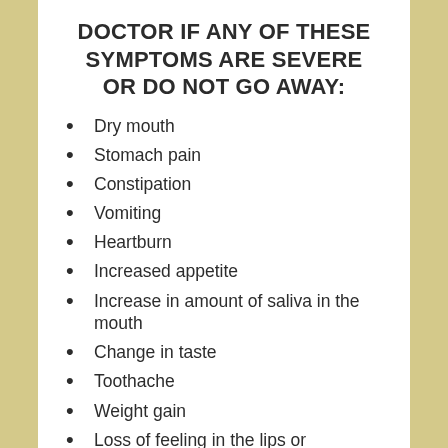DOCTOR IF ANY OF THESE SYMPTOMS ARE SEVERE OR DO NOT GO AWAY:
Dry mouth
Stomach pain
Constipation
Vomiting
Heartburn
Increased appetite
Increase in amount of saliva in the mouth
Change in taste
Toothache
Weight gain
Loss of feeling in the lips or